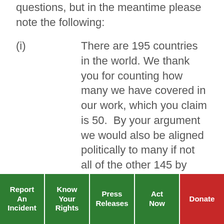questions, but in the meantime please note the following:
(i)   There are 195 countries in the world. We thank you for counting how many we have covered in our work, which you claim is 50.  By your argument we would also be aligned politically to many if not all of the other 145 by virtue of not having said anything on these countries / governments e.g. the Holy See, Kyrgystan, Argentina, Latvia etc.
(ii)   Trying to align us to any country based on the ethnicity of any of our staff, directors or volunteers is essentially a racist enterprise.  Our
Report An Incident | Know Your Rights | Press Releases | Act Now | Donate